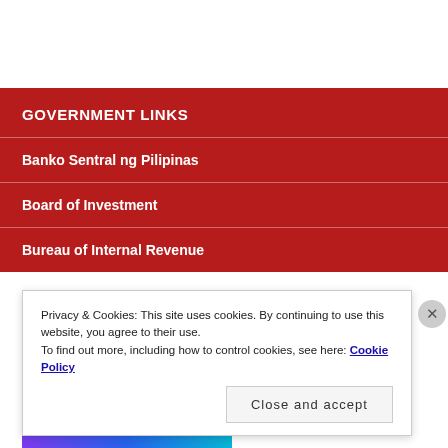GOVERNMENT LINKS
Banko Sentral ng Pilipinas
Board of Investment
Bureau of Internal Revenue
Privacy & Cookies: This site uses cookies. By continuing to use this website, you agree to their use.
To find out more, including how to control cookies, see here: Cookie Policy
Close and accept